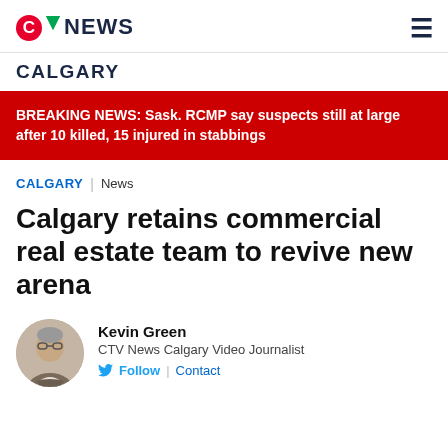CTV NEWS
CALGARY
BREAKING NEWS: Sask. RCMP say suspects still at large after 10 killed, 15 injured in stabbings
CALGARY | News
Calgary retains commercial real estate team to revive new arena
Kevin Green
CTV News Calgary Video Journalist
Follow | Contact